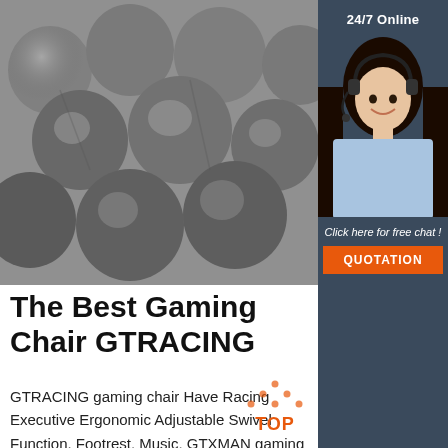[Figure (photo): Close-up photo of multiple steel/metal cylindrical rods or billets stacked together, gray metallic surface visible.]
[Figure (photo): Customer service agent: smiling woman with dark hair wearing a headset, against the dark navy side panel. Badge '24/7 Online' at top.]
The Best Gaming Chair GTRACING
GTRACING gaming chair Have Racing Executive Ergonomic Adjustable Swivel Function. Footrest, Music, GTXMAN gaming chairs series are comfortable for studying, playing game and working. United States Over $99 Get Free Expedited Shipping. We make long and worth